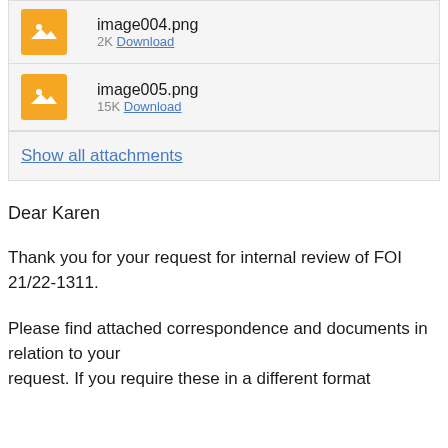[Figure (screenshot): Attachment list showing image004.png (2K Download) and image005.png (15K Download) with orange image icons, and a 'Show all attachments' link]
Dear Karen
Thank you for your request for internal review of FOI 21/22-1311.
Please find attached correspondence and documents in relation to your request. If you require these in a different format